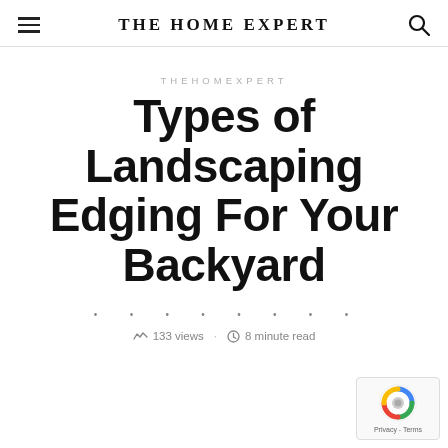THE HOME EXPERT
THEHOMEXPERT
Types of Landscaping Edging For Your Backyard
133 views · 8 minute read